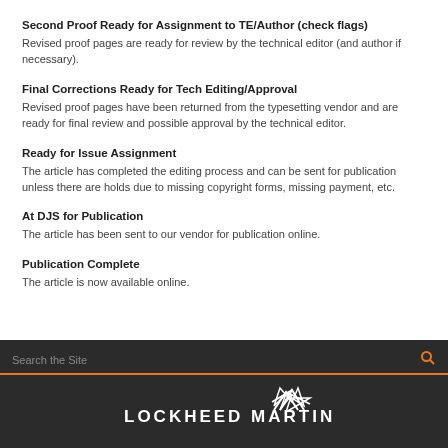Second Proof Ready for Assignment to TE/Author (check flags)
Revised proof pages are ready for review by the technical editor (and author if necessary).
Final Corrections Ready for Tech Editing/Approval
Revised proof pages have been returned from the typesetting vendor and are ready for final review and possible approval by the technical editor.
Ready for Issue Assignment
The article has completed the editing process and can be sent for publication unless there are holds due to missing copyright forms, missing payment, etc.
At DJS for Publication
The article has been sent to our vendor for publication online.
Publication Complete
The article is now available online.
Search the Site | LOCKHEED MARTIN